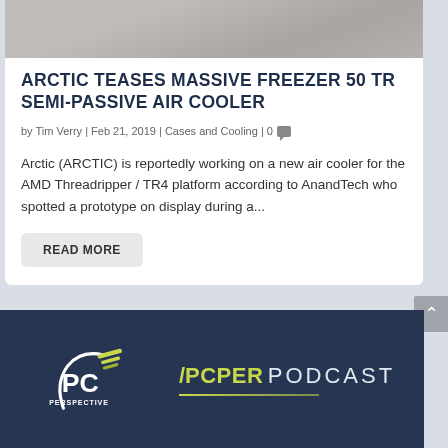[Figure (photo): Partial view of a CPU air cooler heatsink/heat pipes close-up photograph]
ARCTIC TEASES MASSIVE FREEZER 50 TR SEMI-PASSIVE AIR COOLER
by Tim Verry | Feb 21, 2019 | Cases and Cooling | 0
Arctic (ARCTIC) is reportedly working on a new air cooler for the AMD Threadripper / TR4 platform according to AnandTech who spotted a prototype on display during a...
READ MORE
[Figure (logo): PC Perspective logo and /PCPER PODCAST branding on dark navy blue background]